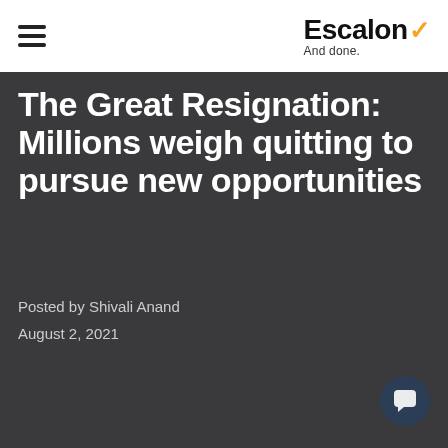Escalon ✓ And done.
The Great Resignation: Millions weigh quitting to pursue new opportunities
Posted by Shivali Anand
August 2, 2021